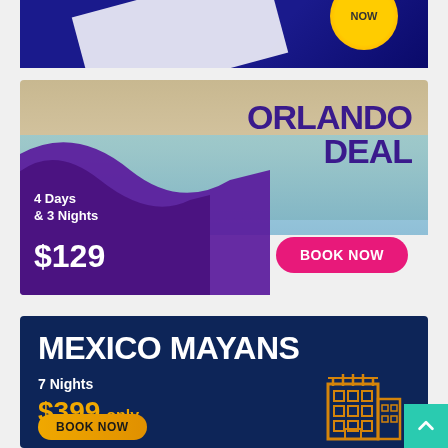[Figure (illustration): Partial blue promotional banner with white diagonal stripe and orange/yellow circular badge at top, cropped.]
[Figure (illustration): Orlando Deal travel advertisement. Background shows a resort pool with palm trees. Purple wave overlay on lower left. Text reads: ORLANDO DEAL, 4 Days & 3 Nights, $129, BOOK NOW button in pink.]
[Figure (illustration): Mexico Mayans travel advertisement on dark navy background. Text reads: MEXICO MAYANS, 7 Nights, $399 only, BOOK NOW button in orange/yellow. Building icon on right.]